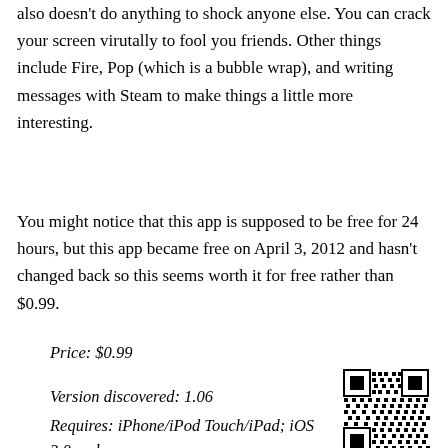also doesn't do anything to shock anyone else. You can crack your screen virutally to fool you friends. Other things include Fire, Pop (which is a bubble wrap), and writing messages with Steam to make things a little more interesting.
You might notice that this app is supposed to be free for 24 hours, but this app became free on April 3, 2012 and hasn't changed back so this seems worth it for free rather than $0.99.
Price: $0.99
Version discovered: 1.06
Requires: iPhone/iPod Touch/iPad; iOS 3.0 and up
[Figure (other): QR code linking to app]